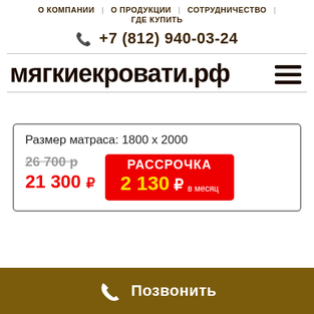О КОМПАНИИ | О ПРОДУКЦИИ | СОТРУДНИЧЕСТВО | ГДЕ КУПИТЬ
+7 (812) 940-03-24
мягкиекровати.рф
Размер матраса: 1800 х 2000
26 700 р (зачёркнуто)
21 300 р
РАССРОЧКА 2 130 р в месяц
Позвонить